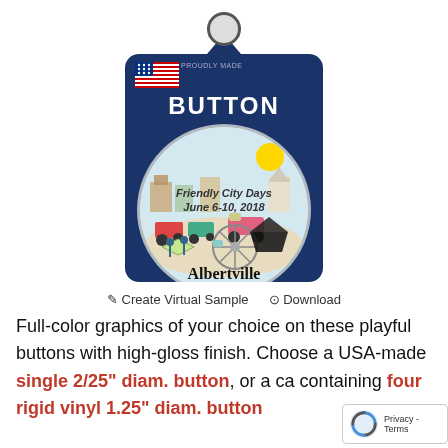[Figure (photo): Product photo of a button/badge in dark blue packaging card with a hanger hole at top. The card shows a US flag with 'PROUDLY MADE' text, the word 'BUTTON' in large white bold text, and a circular button featuring 'Friendly City Days June 6-10, 2018' text with colorful children's drawings of tractors, ferris wheel, buildings, and the Albertville logo with tagline 'Small Town Living. Big City Life'.]
✎ Create Virtual Sample   ⊙ Download
Full-color graphics of your choice on these playful buttons with high-gloss finish. Choose a USA-made single 2/25" diam. button, or a ca containing four rigid vinyl 1.25" diam. button